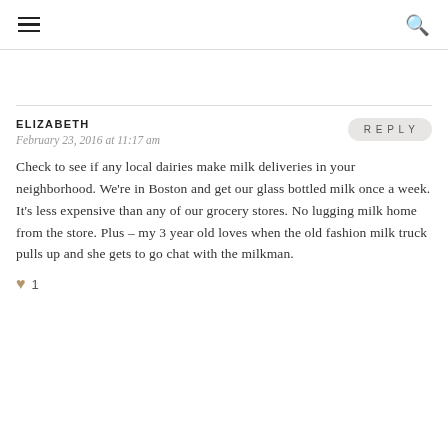[hamburger menu icon] [search icon]
ELIZABETH
REPLY
February 23, 2016 at 11:17 am
Check to see if any local dairies make milk deliveries in your neighborhood. We’re in Boston and get our glass bottled milk once a week. It’s less expensive than any of our grocery stores. No lugging milk home from the store. Plus – my 3 year old loves when the old fashion milk truck pulls up and she gets to go chat with the milkman.
♥ 1